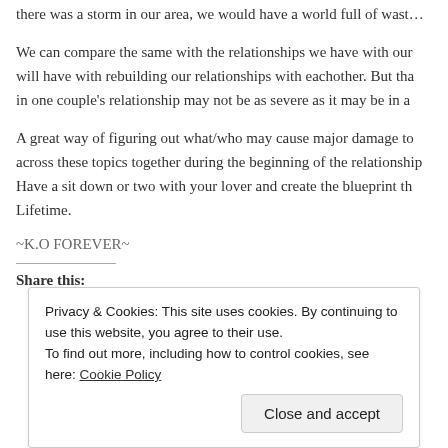there was a storm in our area, we would have a world full of wast…
We can compare the same with the relationships we have with our… will have with rebuilding our relationships with eachother. But tha… in one couple's relationship may not be as severe as it may be in a…
A great way of figuring out what/who may cause major damage to… across these topics together during the beginning of the relationship… Have a sit down or two with your lover and create the blueprint th… Lifetime.
~K.O FOREVER~
Share this:
Privacy & Cookies: This site uses cookies. By continuing to use this website, you agree to their use.
To find out more, including how to control cookies, see here: Cookie Policy
Close and accept